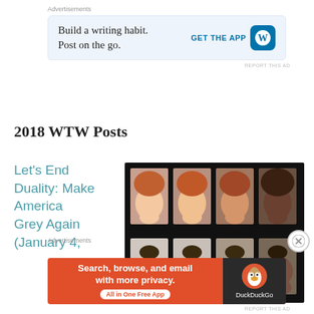Advertisements
[Figure (screenshot): WordPress ad: Build a writing habit. Post on the go. GET THE APP with WordPress logo button. Light blue background.]
REPORT THIS AD
2018 WTW Posts
Let's End Duality: Make America Grey Again (January 4,
[Figure (photo): Grid of 8 portrait photos showing facial transformations across race/ethnicity on black background, 2 rows of 4 photos each.]
Advertisements
[Figure (screenshot): DuckDuckGo ad: Search, browse, and email with more privacy. All in One Free App. Orange background with DuckDuckGo duck logo on dark right panel.]
REPORT THIS AD